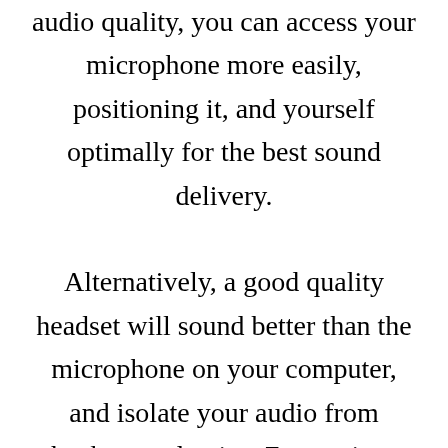audio quality, you can access your microphone more easily, positioning it, and yourself optimally for the best sound delivery.

Alternatively, a good quality headset will sound better than the microphone on your computer, and isolate your audio from background noise. Zoom gives you the option of how you connect your audio when you're joining a meeting. You can connect via your computer's audio, or by dialing into a phone number. You should choose the option that